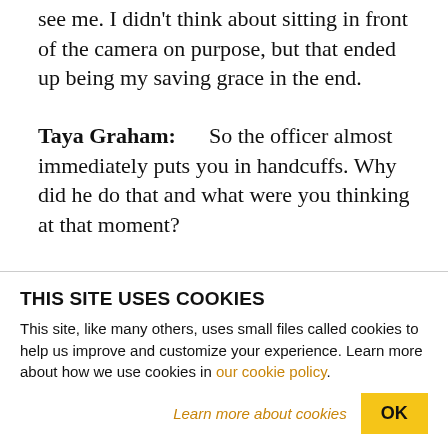see me. I didn't think about sitting in front of the camera on purpose, but that ended up being my saving grace in the end.
Taya Graham: So the officer almost immediately puts you in handcuffs. Why did he do that and what were you thinking at that moment?
Caleb Dial: I was actually really confused. I asked him why he was doing that. He states for officer safety, which in the police report it states that
THIS SITE USES COOKIES
This site, like many others, uses small files called cookies to help us improve and customize your experience. Learn more about how we use cookies in our cookie policy.
Learn more about cookies
OK